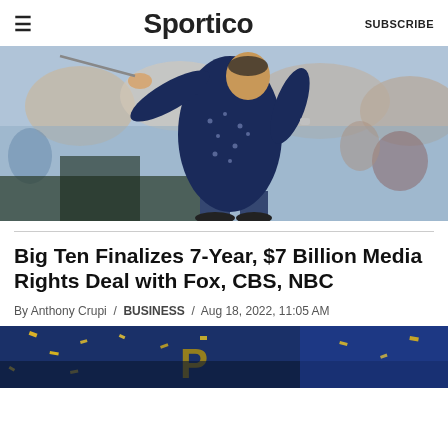≡  Sportico  SUBSCRIBE
[Figure (photo): A golfer in a navy patterned polo shirt mid-swing follow-through, with spectators blurred in the background.]
Big Ten Finalizes 7-Year, $7 Billion Media Rights Deal with Fox, CBS, NBC
By Anthony Crupi / BUSINESS / Aug 18, 2022, 11:05 AM
[Figure (photo): Partial view of a crowd celebration scene, blue and yellow confetti, partial Purdue logo visible.]